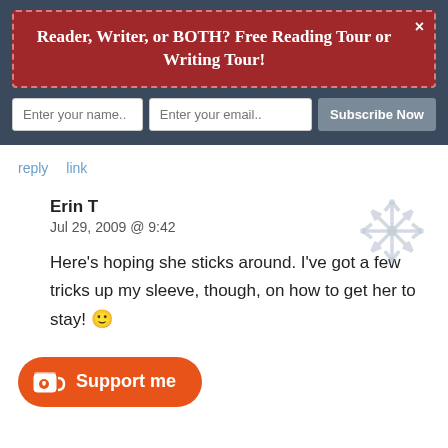Reader, Writer, or BOTH? Free Reading Tour or Writing Tour!
Enter your name..  Enter your email..  Subscribe Now
reply  link
Erin T
Jul 29, 2009 @ 9:42
Here's hoping she sticks around. I've got a few tricks up my sleeve, though, on how to get her to stay! 🙂
Support me